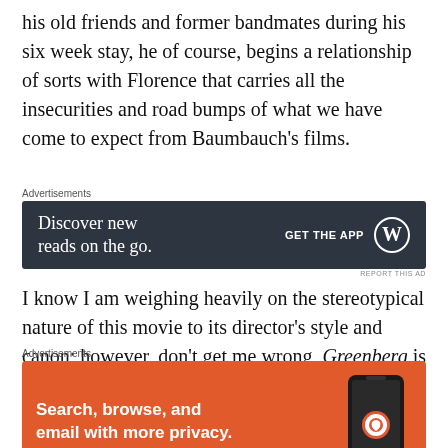his old friends and former bandmates during his six week stay, he of course, begins a relationship of sorts with Florence that carries all the insecurities and road bumps of what we have come to expect from Baumbauch's films.
[Figure (other): Dark-themed advertisement banner: 'Discover new reads on the go.' with 'GET THE APP' button and WordPress logo]
I know I am weighing heavily on the stereotypical nature of this movie to its director's style and canon; however, don't get me wrong, Greenberg is not a bad film. It's definitely not Baumbauch's best work, but by no means bad. I
[Figure (other): Orange DuckDuckGo advertisement: 'Search, browse, and email with more privacy. All in One Free App' with phone image and DuckDuckGo logo]